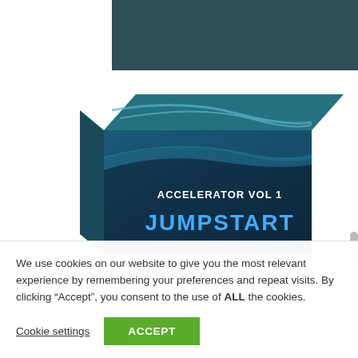[Figure (illustration): Product box image for 'Trading Accelerator Vol 1 Jumpstart'. Box has dark blue/teal design with wave patterns. Top dark teal banner above the box. Text on box reads 'ACCELERATOR VOL 1' and 'JUMPSTART' in large blue letters. Box spine reads 'TRADING' vertically.]
We use cookies on our website to give you the most relevant experience by remembering your preferences and repeat visits. By clicking “Accept”, you consent to the use of ALL the cookies.
Cookie settings
ACCEPT